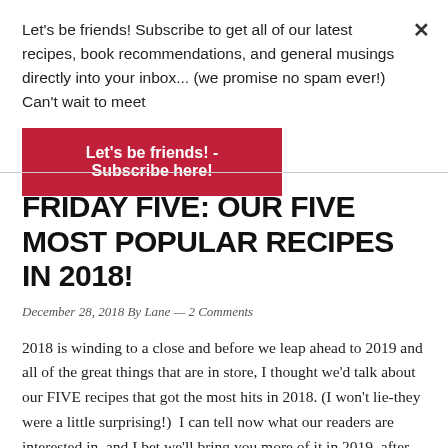Let's be friends! Subscribe to get all of our latest recipes, book recommendations, and general musings directly into your inbox... (we promise no spam ever!) Can't wait to meet
Let's be friends! -Subscribe here!
FRIDAY FIVE: OUR FIVE MOST POPULAR RECIPES IN 2018!
December 28, 2018 By Lane — 2 Comments
2018 is winding to a close and before we leap ahead to 2019 and all of the great things that are in store, I thought we'd talk about our FIVE recipes that got the most hits in 2018. (I won't lie-they were a little surprising!)  I can tell now what our readers are interested in, and I bet we'll bring you more of it in 2019, after all, we want to inspire you to get into the kitchen!  (although definitely if you have a special request, just let us know in the comments section at the